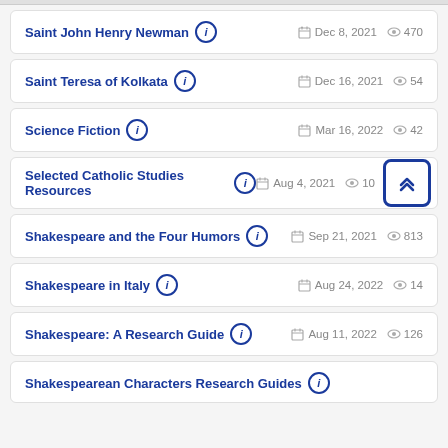Saint John Henry Newman | Dec 8, 2021 | 470 views
Saint Teresa of Kolkata | Dec 16, 2021 | 54 views
Science Fiction | Mar 16, 2022 | 42 views
Selected Catholic Studies Resources | Aug 4, 2021 | 10 views
Shakespeare and the Four Humors | Sep 21, 2021 | 813 views
Shakespeare in Italy | Aug 24, 2022 | 14 views
Shakespeare: A Research Guide | Aug 11, 2022 | 126 views
Shakespearean Characters Research Guides